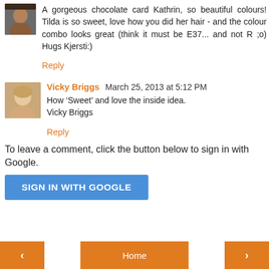A gorgeous chocolate card Kathrin, so beautiful colours! Tilda is so sweet, love how you did her hair - and the colour combo looks great (think it must be E37... and not R ;o) Hugs Kjersti:)
Reply
Vicky Briggs  March 25, 2013 at 5:12 PM
How ‘Sweet’ and love the inside idea.
Vicky Briggs
Reply
To leave a comment, click the button below to sign in with Google.
SIGN IN WITH GOOGLE
< Home >